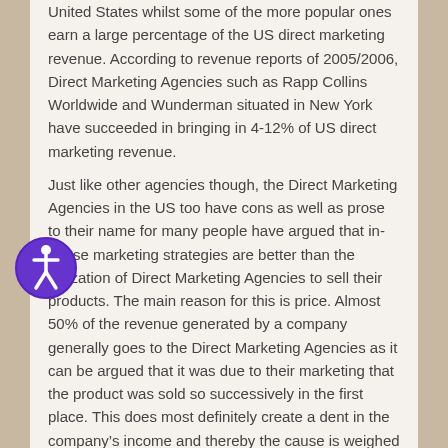United States whilst some of the more popular ones earn a large percentage of the US direct marketing revenue. According to revenue reports of 2005/2006, Direct Marketing Agencies such as Rapp Collins Worldwide and Wunderman situated in New York have succeeded in bringing in 4-12% of US direct marketing revenue. Just like other agencies though, the Direct Marketing Agencies in the US too have cons as well as prose to their name for many people have argued that in-house marketing strategies are better than the utilization of Direct Marketing Agencies to sell their products. The main reason for this is price. Almost 50% of the revenue generated by a company generally goes to the Direct Marketing Agencies as it can be argued that it was due to their marketing that the product was sold so successively in the first place. This does most definitely create a dent in the company’s income and thereby the cause is weighed and argued by many companies and entrepreneurs today.